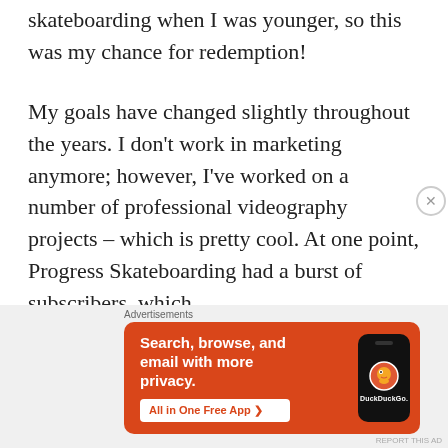skateboarding when I was younger, so this was my chance for redemption!
My goals have changed slightly throughout the years. I don't work in marketing anymore; however, I've worked on a number of professional videography projects – which is pretty cool. At one point, Progress Skateboarding had a burst of subscribers, which
[Figure (infographic): DuckDuckGo advertisement banner with orange background. Text: 'Search, browse, and email with more privacy. All in One Free App'. Shows a phone with DuckDuckGo logo.]